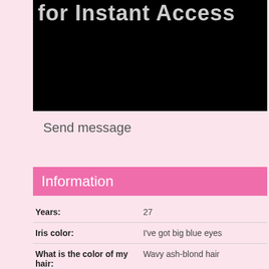[Figure (screenshot): Black rectangle banner with partially visible text 'for Instant Access' in grey at the top]
Send message
Information
| Years: | 27 |
| Iris color: | I've got big blue eyes |
| What is the color of my hair: | Wavy ash-blond hair |
| Favourite drink: | Lager |